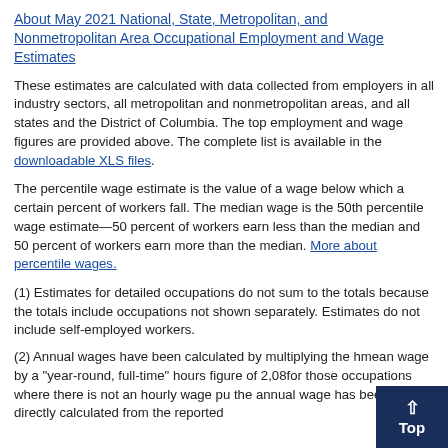About May 2021 National, State, Metropolitan, and Nonmetropolitan Area Occupational Employment and Wage Estimates
These estimates are calculated with data collected from employers in all industry sectors, all metropolitan and nonmetropolitan areas, and all states and the District of Columbia. The top employment and wage figures are provided above. The complete list is available in the downloadable XLS files.
The percentile wage estimate is the value of a wage below which a certain percent of workers fall. The median wage is the 50th percentile wage estimate—50 percent of workers earn less than the median and 50 percent of workers earn more than the median. More about percentile wages.
(1) Estimates for detailed occupations do not sum to the totals because the totals include occupations not shown separately. Estimates do not include self-employed workers.
(2) Annual wages have been calculated by multiplying the hourly mean wage by a "year-round, full-time" hours figure of 2,080 hours; for those occupations where there is not an hourly wage published, the annual wage has been directly calculated from the reported survey data.